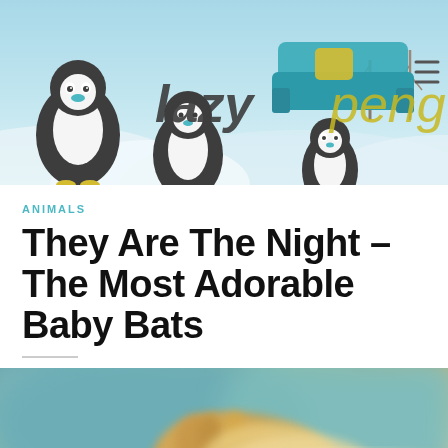[Figure (screenshot): Lazy Penguins website header banner with cartoon penguin mascots, a teal sofa, snowy winter landscape background, and the 'lazy penguins' logo text in teal and yellow. Hamburger menu icon in top right.]
ANIMALS
They Are The Night – The Most Adorable Baby Bats
[Figure (photo): Close-up blurred photo of a baby bat, showing orange/yellow fur or skin tones against a teal-green blurred background.]